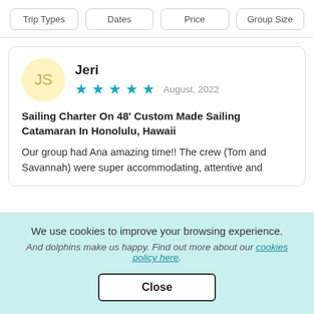Trip Types | Dates | Price | Group Size
Jeri
★★★★★ August, 2022
Sailing Charter On 48' Custom Made Sailing Catamaran In Honolulu, Hawaii
Our group had Ana amazing time!! The crew (Tom and Savannah) were super accommodating, attentive and
We use cookies to improve your browsing experience. And dolphins make us happy. Find out more about our cookies policy here. Close